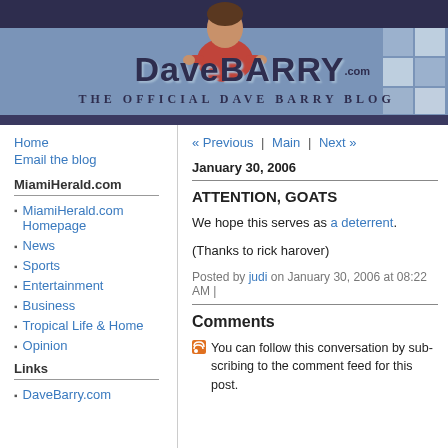[Figure (screenshot): DaveBarry.com website header banner with a man in a red shirt leaning over a blue panel displaying 'DaveBARRY.com - The Official Dave Barry Blog' logo, with checkerboard decoration on the right]
Home
Email the blog
MiamiHerald.com
MiamiHerald.com Homepage
News
Sports
Entertainment
Business
Tropical Life & Home
Opinion
Links
DaveBarry.com
« Previous | Main | Next »
January 30, 2006
ATTENTION, GOATS
We hope this serves as a deterrent.
(Thanks to rick harover)
Posted by judi on January 30, 2006 at 08:22 AM |
Comments
You can follow this conversation by subscribing to the comment feed for this post.